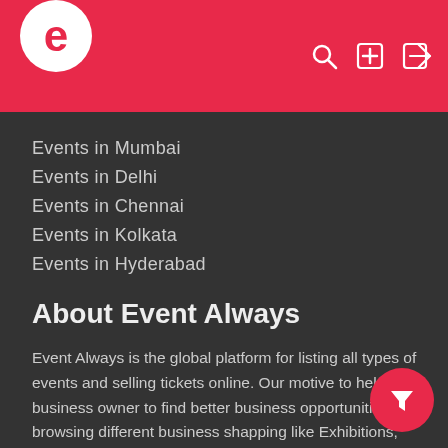e [logo] [search] [plus] [login icons]
Events in Mumbai
Events in Delhi
Events in Chennai
Events in Kolkata
Events in Hyderabad
About Event Always
Event Always is the global platform for listing all types of events and selling tickets online. Our motive to help the business owner to find better business opportunities by browsing different business shows happing like Exhibitions, Conferences, Awards, Workshop around the world. It is also a great place